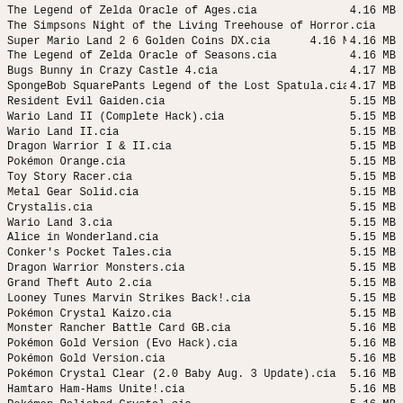| Filename | Size |
| --- | --- |
| The Legend of Zelda Oracle of Ages.cia | 4.16 MB |
| The Simpsons Night of the Living Treehouse of Horror.cia |  |
| Super Mario Land 2 6 Golden Coins DX.cia | 4.16 MB4.16 MB |
| The Legend of Zelda Oracle of Seasons.cia | 4.16 MB |
| Bugs Bunny in Crazy Castle 4.cia | 4.17 MB |
| SpongeBob SquarePants Legend of the Lost Spatula.cia | 4.17 MB |
| Resident Evil Gaiden.cia | 5.15 MB |
| Wario Land II (Complete Hack).cia | 5.15 MB |
| Wario Land II.cia | 5.15 MB |
| Dragon Warrior I & II.cia | 5.15 MB |
| Pokémon Orange.cia | 5.15 MB |
| Toy Story Racer.cia | 5.15 MB |
| Metal Gear Solid.cia | 5.15 MB |
| Crystalis.cia | 5.15 MB |
| Wario Land 3.cia | 5.15 MB |
| Alice in Wonderland.cia | 5.15 MB |
| Conker's Pocket Tales.cia | 5.15 MB |
| Dragon Warrior Monsters.cia | 5.15 MB |
| Grand Theft Auto 2.cia | 5.15 MB |
| Looney Tunes Marvin Strikes Back!.cia | 5.15 MB |
| Pokémon Crystal Kaizo.cia | 5.15 MB |
| Monster Rancher Battle Card GB.cia | 5.16 MB |
| Pokémon Gold Version (Evo Hack).cia | 5.16 MB |
| Pokémon Gold Version.cia | 5.16 MB |
| Pokémon Crystal Clear (2.0 Baby Aug. 3 Update).cia | 5.16 MB |
| Hamtaro Ham-Hams Unite!.cia | 5.16 MB |
| Pokémon Polished Crystal.cia | 5.16 MB |
| Pokémon Complex Crystal.cia | 5.16 MB |
| Pokémon Crystal Version (Evo + Celebi Event).cia | 5.16 MB |
| Pokémon Crystal Version (Evo Hack).cia | 5.16 MB |
| Pokémon Crystal Version.cia | 5.16 MB |
| Pokémon Crystal Clear Version.cia | 5.16 MB |